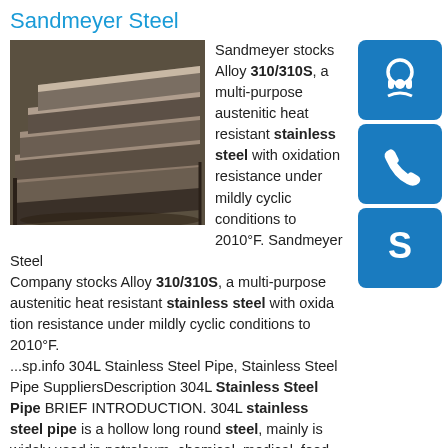Sandmeyer Steel
[Figure (photo): Stack of dark metallic steel plates/sheets photographed at an angle]
Sandmeyer stocks Alloy 310/310S, a multi-purpose austenitic heat resistant stainless steel with oxidation resistance under mildly cyclic conditions to 2010°F. Sandmeyer Steel Company stocks Alloy 310/310S, a multi-purpose austenitic heat resistant stainless steel with oxidation resistance under mildly cyclic conditions to 2010°F. ...sp.info 304L Stainless Steel Pipe, Stainless Steel Pipe SuppliersDescription 304L Stainless Steel Pipe BRIEF INTRODUCTION. 304L stainless steel pipe is a hollow long round steel, mainly is widely used in petroleum, chemical, medical, food, light industry, machinery, instrument and other industrial pipeline and mechanical structure parts, etc. In addition, in bending and torsion